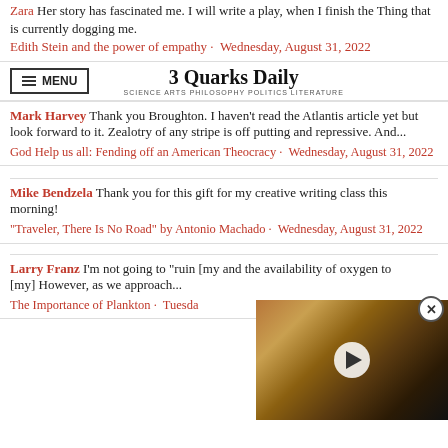Zara Her story has fascinated me. I will write a play, when I finish the Thing that is currently dogging me.
Edith Stein and the power of empathy · Wednesday, August 31, 2022
[Figure (screenshot): 3 Quarks Daily website header with menu button and site logo]
Mark Harvey Thank you Broughton. I haven't read the Atlantis article yet but look forward to it. Zealotry of any stripe is off putting and repressive. And...
God Help us all: Fending off an American Theocracy · Wednesday, August 31, 2022
Mike Bendzela Thank you for this gift for my creative writing class this morning!
"Traveler, There Is No Road" by Antonio Machado · Wednesday, August 31, 2022
Larry Franz I'm not going to "ruin [my] and the availability of oxygen to [my] However, as we approach...
The Importance of Plankton · Tuesda
[Figure (screenshot): Video overlay showing planet Jupiter image with play button and close button]